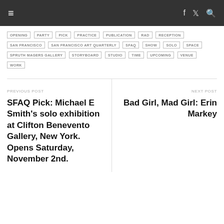≡  f  🐦  🔍
OPENING PARTY PICK PRACTICE PUBLICATION RAD RECEPTION SAN FRANCISCO SAN FRANCISCO ART QUARTERLY SFAQ SHOW SOLO SPACE SPRUTH MAGERS GALLERY STORYBOARD STUDIO TIME UPCOMING VENUE WORK
PREVIOUS POST
SFAQ Pick: Michael E Smith's solo exhibition at Clifton Benevento Gallery, New York. Opens Saturday, November 2nd.
NEXT POST
Bad Girl, Mad Girl: Erin Markey